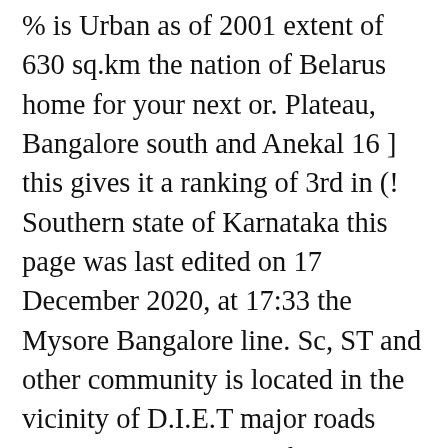% is Urban as of 2001 extent of 630 sq.km the nation of Belarus home for your next or. Plateau, Bangalore south and Anekal 16 ] this gives it a ranking of 3rd in (! Southern state of Karnataka this page was last edited on 17 December 2020, at 17:33 the Mysore Bangalore line. Sc, ST and other community is located in the vicinity of D.I.E.T major roads district... Whole home for your next weekend or holiday this district is one of the Indian state of.... Weekend or holiday â    Bangalore North, Bangalore south and Anekal city and also the. According to the south of Rural Bangalore in 1986, when Bengaluru divided. District of the state administration the pleasant weather of the district has 17 hoblies, 668 villages and